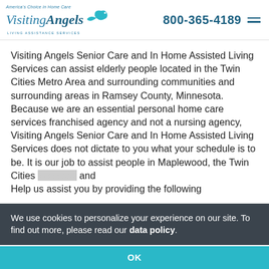[Figure (logo): Visiting Angels logo with bird icon, tagline 'America's Choice in Home Care' and subtitle 'LIVING ASSISTANCE SERVICES']
800-365-4189
Visiting Angels Senior Care and In Home Assisted Living Services can assist elderly people located in the Twin Cities Metro Area and surrounding communities and surrounding areas in Ramsey County, Minnesota. Because we are an essential personal home care services franchised agency and not a nursing agency, Visiting Angels Senior Care and In Home Assisted Living Services does not dictate to you what your schedule is to be. It is our job to assist people in Maplewood, the Twin Cities [areas] and [surrounding communities], assisting our [clients] to keep your loved one comfortable in their homes.
We use cookies to personalize your experience on our site. To find out more, please read our data policy.
OK
Help us assist you by providing the following